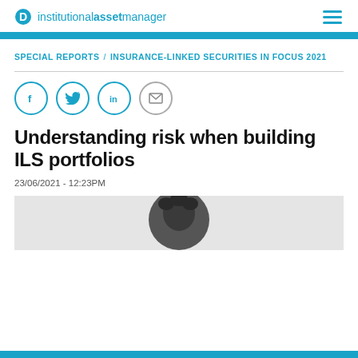institutional asset manager
SPECIAL REPORTS / INSURANCE-LINKED SECURITIES IN FOCUS 2021
[Figure (other): Social sharing icons: Facebook, Twitter, LinkedIn, Email]
Understanding risk when building ILS portfolios
23/06/2021 - 12:23PM
[Figure (photo): Partial photo of a person's head with dark curly hair against a light background]